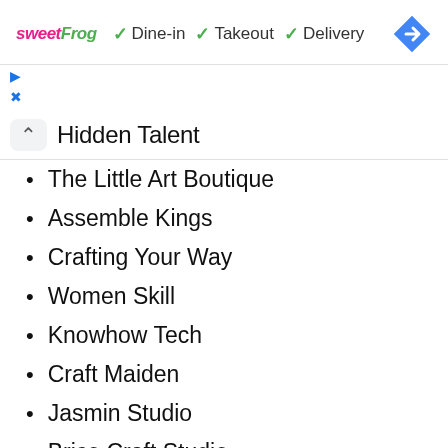[Figure (screenshot): SweetFrog ad banner with dine-in, takeout, delivery checkmarks and navigation icon]
Hidden Talent
The Little Art Boutique
Assemble Kings
Crafting Your Way
Women Skill
Knowhow Tech
Craft Maiden
Jasmin Studio
Brico Craft Studio
Bench Dovetail
Bee More Creative
A small Gallery